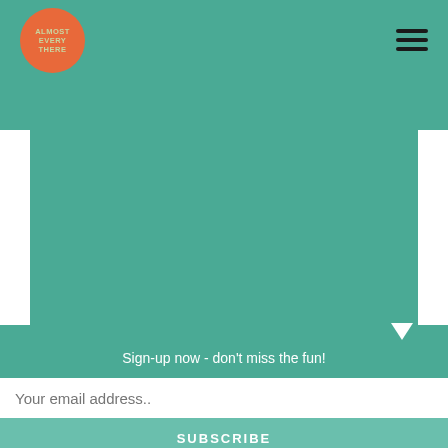[Figure (logo): Orange circle logo with text 'ALMOST EVERY THERE' in circular arrangement]
[Figure (other): Hamburger menu icon (three horizontal lines)]
Sign-up now - don't miss the fun!
Your email address..
SUBSCRIBE